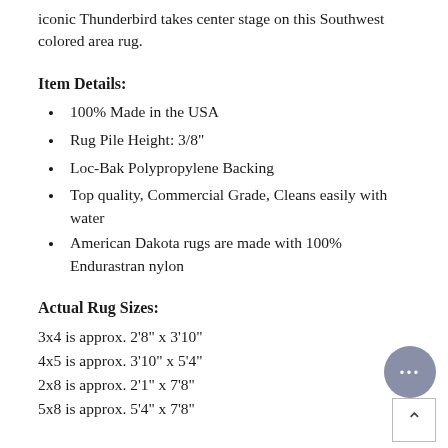iconic Thunderbird takes center stage on this Southwest colored area rug.
Item Details:
100% Made in the USA
Rug Pile Height: 3/8"
Loc-Bak Polypropylene Backing
Top quality, Commercial Grade, Cleans easily with water
American Dakota rugs are made with 100% Endurastran nylon
Actual Rug Sizes:
3x4 is approx. 2'8" x 3'10"
4x5 is approx. 3'10" x 5'4"
2x8 is approx. 2'1" x 7'8"
5x8 is approx. 5'4" x 7'8"